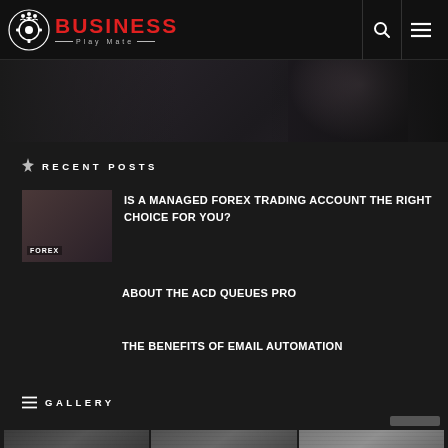BUSINESS Play Mate
[Figure (photo): Dark hero banner strip showing a partial portrait in a dark background]
RECENT POSTS
IS A MANAGED FOREX TRADING ACCOUNT THE RIGHT CHOICE FOR YOU?
ABOUT THE ACD QUEUES PRO
THE BENEFITS OF EMAIL AUTOMATION
GALLERY
[Figure (photo): Three grayscale thumbnail gallery images at the bottom]